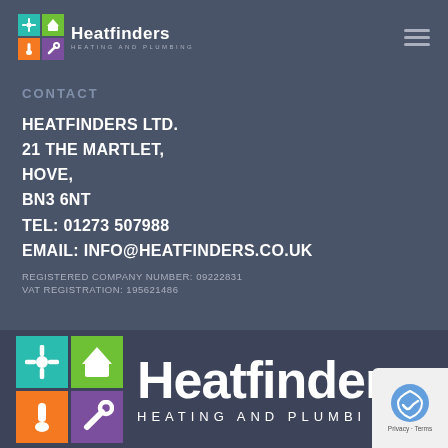Heatfinders HEATING AND PLUMBING
CONTACT
HEATFINDERS LTD.
21 THE MARTLET,
HOVE,
BN3 6NT
TEL: 01273 507988
EMAIL: INFO@HEATFINDERS.CO.UK
REGISTERED COMPANY NUMBER: 09222831
VAT REGISTRATION: 195621486
[Figure (logo): Heatfinders Heating and Plumbing logo — 2x2 colored grid (teal, green, orange, purple) with icons, plus large wordmark 'Heatfinders' and tagline 'HEATING AND PLUMBING']